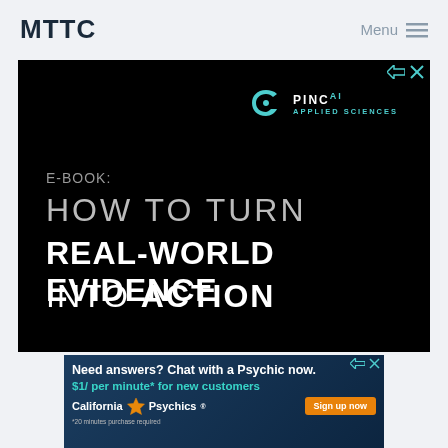MTTC
Menu ≡
[Figure (advertisement): PINC AI Applied Sciences e-book advertisement on black background. Text reads: E-BOOK: HOW TO TURN REAL-WORLD EVIDENCE INTO ACTION]
[Figure (advertisement): California Psychics advertisement: Need answers? Chat with a Psychic now. $1/ per minute* for new customers. Sign up now. *20 minutes purchase required]